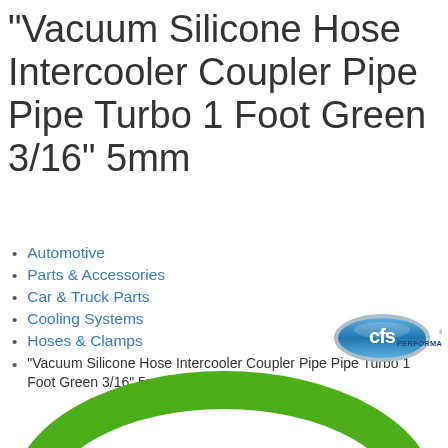"Vacuum Silicone Hose Intercooler Coupler Pipe Pipe Turbo 1 Foot Green 3/16" 5mm
Automotive
Parts & Accessories
Car & Truck Parts
Cooling Systems
Hoses & Clamps
"Vacuum Silicone Hose Intercooler Coupler Pipe Pipe Turbo 1 Foot Green 3/16" 5mm
[Figure (logo): CFS Performance logo - oval blue/grey logo with 'cfs PERFORMANCE' text]